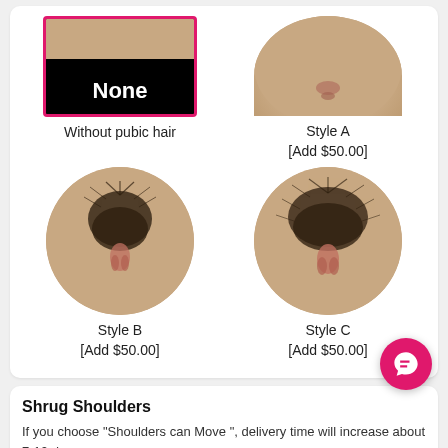[Figure (photo): Product option grid showing pubic hair styles: None (selected, with pink border), Style A (top cropped circle), Style B (full circle with hair), Style C (full circle with hair)]
Without pubic hair
Style A
[Add $50.00]
Style B
[Add $50.00]
Style C
[Add $50.00]
Shrug Shoulders
If you choose "Shoulders can Move ", delivery time will increase about 7-10 days.